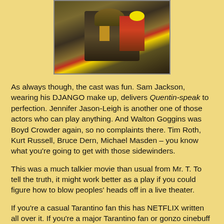[Figure (photo): Film still showing actors in costume, including a figure in a hat]
As always though, the cast was fun. Sam Jackson, wearing his DJANGO make up, delivers Quentin-speak to perfection. Jennifer Jason-Leigh is another one of those actors who can play anything. And Walton Goggins was Boyd Crowder again, so no complaints there. Tim Roth, Kurt Russell, Bruce Dern, Michael Masden – you know what you're going to get with those sidewinders.
This was a much talkier movie than usual from Mr. T. To tell the truth, it might work better as a play if you could figure how to blow peoples' heads off in a live theater.
If you're a casual Tarantino fan this has NETFLIX written all over it. If you're a major Tarantino fan or gonzo cinebuff I'm curious as to whether you felt he delivered the goods on this one.
For the next one, my recommendation: Concentrate more on